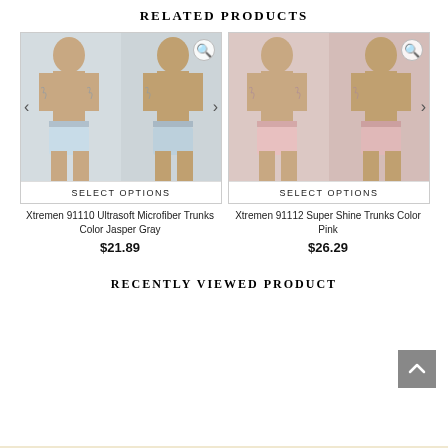RELATED PRODUCTS
[Figure (photo): Two male models wearing Xtremen 91110 Ultrasoft Microfiber Trunks in Jasper Gray color, front and back view]
SELECT OPTIONS
Xtremen 91110 Ultrasoft Microfiber Trunks Color Jasper Gray
$21.89
[Figure (photo): Two male models wearing Xtremen 91112 Super Shine Trunks in Pink color, front and back view]
SELECT OPTIONS
Xtremen 91112 Super Shine Trunks Color Pink
$26.29
RECENTLY VIEWED PRODUCT